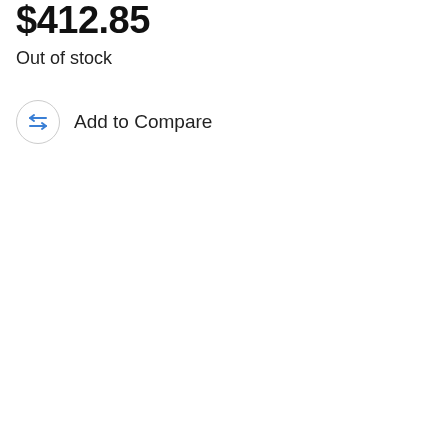$412.85
Out of stock
Add to Compare